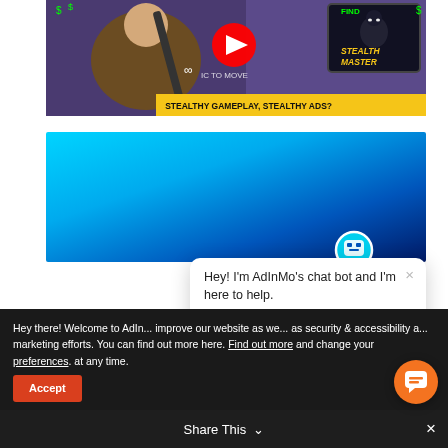[Figure (screenshot): YouTube video thumbnail showing a person holding a staff, with a Stealth Master game ad overlay and 'STEALTHY GAMEPLAY, STEALTHY ADS?' yellow banner text]
[Figure (screenshot): Blue gradient banner/advertisement section]
[Figure (screenshot): Chat bot popup with icon showing 'Hey! I'm AdInMo's chat bot and I'm here to help.']
Hey there! Welcome to AdInMo... improve our website as we... as security & accessibility a... marketing efforts. You can find out more here. Find out more and change your preferences. at any time.
Accept
Share This
[Figure (screenshot): Orange floating chat button (speech bubble icon) bottom right]